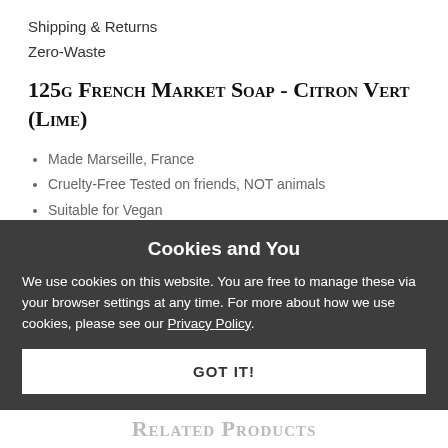Shipping & Returns
Zero-Waste
125g French Market Soap - Citron Vert (Lime)
Made Marseille, France
Cruelty-Free Tested on friends, NOT animals
Suitable for Vegan
Cookies and You
We use cookies on this website. You are free to manage these via your browser settings at any time. For more about how we use cookies, please see our Privacy Policy.
GOT IT!
Related Products